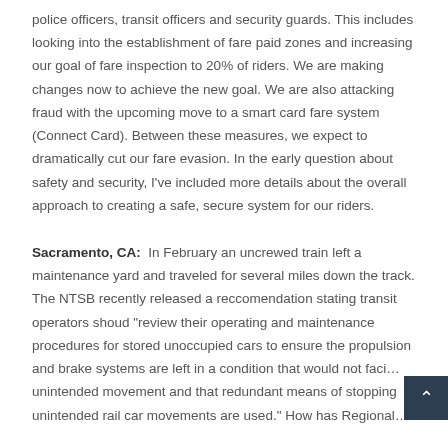police officers, transit officers and security guards. This includes looking into the establishment of fare paid zones and increasing our goal of fare inspection to 20% of riders. We are making changes now to achieve the new goal. We are also attacking fraud with the upcoming move to a smart card fare system (Connect Card). Between these measures, we expect to dramatically cut our fare evasion. In the early question about safety and security, I've included more details about the overall approach to creating a safe, secure system for our riders.
Sacramento, CA:  In February an uncrewed train left a maintenance yard and traveled for several miles down the track. The NTSB recently released a reccomendation stating transit operators shoud "review their operating and maintenance procedures for stored unoccupied cars to ensure the propulsion and brake systems are left in a condition that would not faci… unintended movement and that redundant means of stopping unintended rail car movements are used." How has Regional…